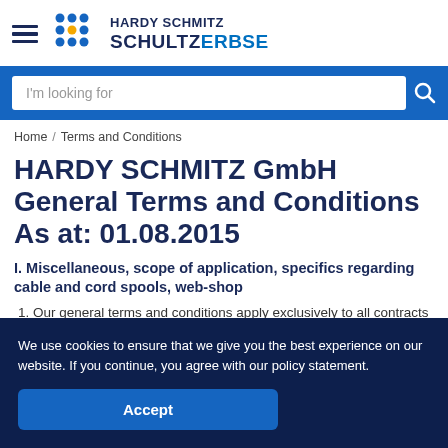HARDY SCHMITZ SCHULTZERBSE
I'm looking for
Home / Terms and Conditions
HARDY SCHMITZ GmbH General Terms and Conditions As at: 01.08.2015
I. Miscellaneous, scope of application, specifics regarding cable and cord spools, web-shop
1. Our general terms and conditions apply exclusively to all contracts and deliveries and miscellaneous services including planning, engineering and
We use cookies to ensure that we give you the best experience on our website. If you continue, you agree with our policy statement.
Accept